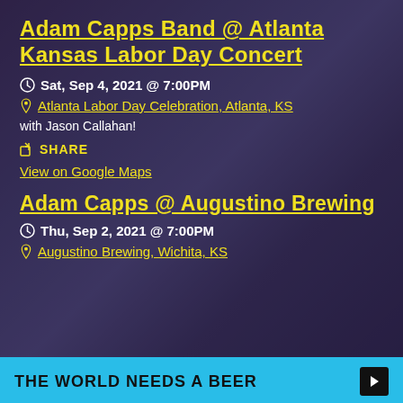Adam Capps Band @ Atlanta Kansas Labor Day Concert
Sat, Sep 4, 2021 @ 7:00PM
Atlanta Labor Day Celebration, Atlanta, KS
with Jason Callahan!
SHARE
View on Google Maps
Adam Capps @ Augustino Brewing
Thu, Sep 2, 2021 @ 7:00PM
Augustino Brewing, Wichita, KS
THE WORLD NEEDS A BEER